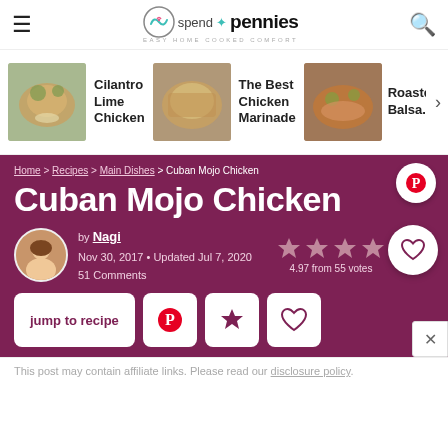spend with pennies — EASY HOME COOKED COMFORT
[Figure (photo): Cilantro Lime Chicken thumbnail]
Cilantro Lime Chicken
[Figure (photo): The Best Chicken Marinade thumbnail]
The Best Chicken Marinade
[Figure (photo): Roasted Balsamic Chicken thumbnail]
Roasted Balsamic Chicken
Home > Recipes > Main Dishes > Cuban Mojo Chicken
Cuban Mojo Chicken
by Nagi
Nov 30, 2017 • Updated Jul 7, 2020
51 Comments
4.97 from 55 votes
jump to recipe
This post may contain affiliate links. Please read our disclosure policy.